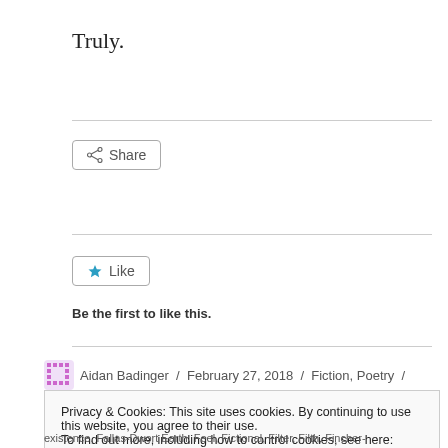Truly.
[Figure (other): Share button with share icon]
[Figure (other): Like button with star icon]
Be the first to like this.
Aidan Badinger / February 27, 2018 / Fiction, Poetry /
Privacy & Cookies: This site uses cookies. By continuing to use this website, you agree to their use.
To find out more, including how to control cookies, see here: Cookie Policy
Close and accept
existence, Fallas-Dwort Earth, Feel, Fictional, Filter, Filth, Fincher-